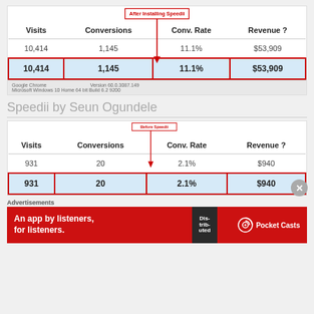[Figure (table-as-image): Table showing After Installing Speedii metrics: Visits 10,414, Conversions 1,145, Conv. Rate 11.1%, Revenue $53,909. Highlighted row with red border shows same values.]
Speedii by Seun Ogundele
[Figure (table-as-image): Table showing Before Speedii metrics: Visits 931, Conversions 20, Conv. Rate 2.1%, Revenue $940. Highlighted row with red border shows same values.]
Advertisements
[Figure (infographic): Pocket Casts advertisement banner: An app by listeners, for listeners.]